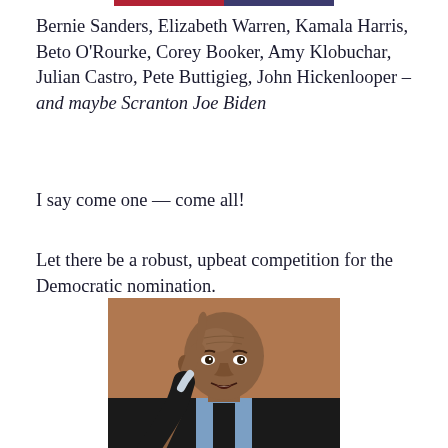[Figure (other): Decorative top bar with red and blue segments]
Bernie Sanders, Elizabeth Warren, Kamala Harris, Beto O'Rourke, Corey Booker, Amy Klobuchar, Julian Castro, Pete Buttigieg, John Hickenlooper – and maybe Scranton Joe Biden
I say come one — come all!
Let there be a robust, upbeat competition for the Democratic nomination.
[Figure (photo): Photo of a bald Black man in a dark suit and blue shirt, pointing upward with his right index finger, appearing to speak emphatically — likely Cory Booker]